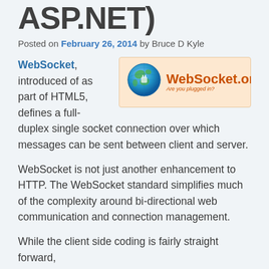ASP.NET)
Posted on February 26, 2014 by Bruce D Kyle
WebSocket, introduced of as part of HTML5, defines a full-duplex single socket connection over which messages can be sent between client and server.
[Figure (logo): WebSocket.org logo with globe icon and text 'WebSocket.org - Are you plugged in?' on orange background banner]
WebSocket is not just another enhancement to HTTP. The WebSocket standard simplifies much of the complexity around bi-directional web communication and connection management.
While the client side coding is fairly straight forward,